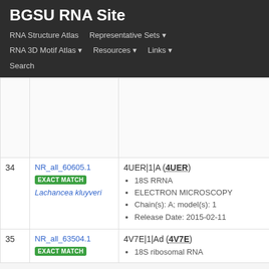BGSU RNA Site
RNA Structure Atlas | Representative Sets ▾ | RNA 3D Motif Atlas ▾ | Resources ▾ | Links ▾ | Search
| # | ID / Organism | Structure Details |
| --- | --- | --- |
| 34 | NR_all_60605.1
EXACT MATCH
Lachancea kluyveri | 4UER|1|A (4UER)
• 18S RRNA
• ELECTRON MICROSCOPY
• Chain(s): A; model(s): 1
• Release Date: 2015-02-11 |
| 35 | NR_all_63504.1
EXACT MATCH | 4V7E|1|Ad (4V7E)
• 18S ribosomal RNA |